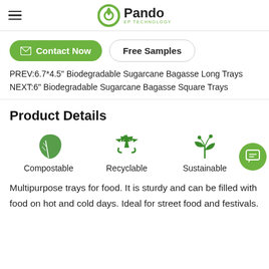Pando EP TECHNOLOGY
Contact Now   Free Samples
PREV:6.7*4.5" Biodegradable Sugarcane Bagasse Long Trays
NEXT:6" Biodegradable Sugarcane Bagasse Square Trays
Product Details
[Figure (illustration): Three green eco icons: a leaf (Compostable), recycling arrows (Recyclable), and a plant/sprout (Sustainable) with labels below each.]
Multipurpose trays for food. It is sturdy and can be filled with food on hot and cold days. Ideal for street food and festivals.